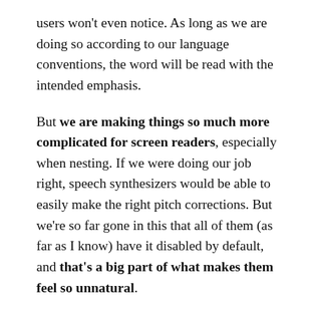users won't even notice. As long as we are doing so according to our language conventions, the word will be read with the intended emphasis.
But we are making things so much more complicated for screen readers, especially when nesting. If we were doing our job right, speech synthesizers would be able to easily make the right pitch corrections. But we're so far gone in this that all of them (as far as I know) have it disabled by default, and that's a big part of what makes them feel so unnatural.
It would probably i...